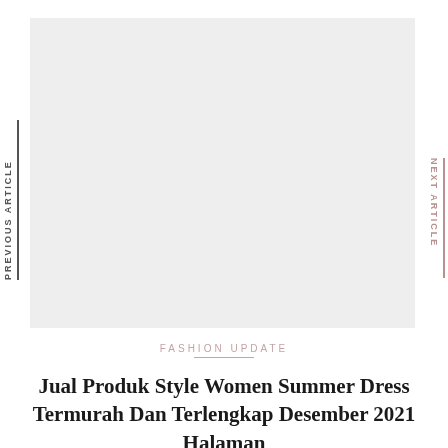[Figure (photo): Large image placeholder with light gray background occupying the top portion of the page]
PREVIOUS ARTICLE
NEXT ARTICLE
FASHION UPDATE
Jual Produk Style Women Summer Dress Termurah Dan Terlengkap Desember 2021 Halaman